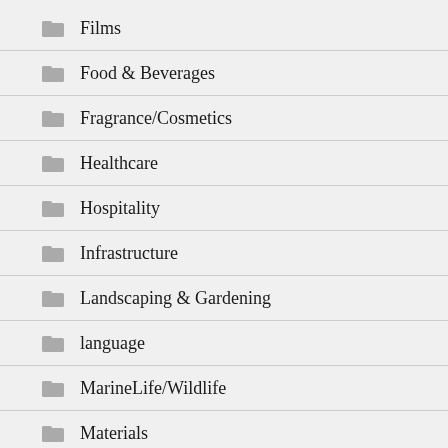Films
Food & Beverages
Fragrance/Cosmetics
Healthcare
Hospitality
Infrastructure
Landscaping & Gardening
language
MarineLife/Wildlife
Materials